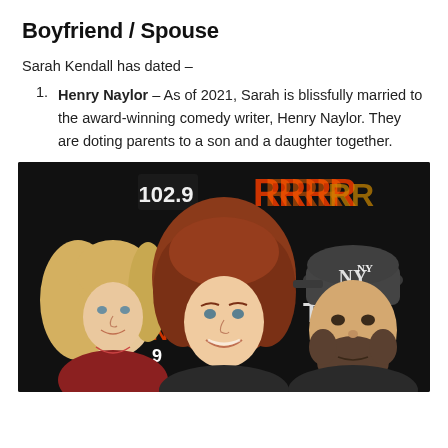Boyfriend / Spouse
Sarah Kendall has dated –
Henry Naylor – As of 2021, Sarah is blissfully married to the award-winning comedy writer, Henry Naylor. They are doting parents to a son and a daughter together.
[Figure (photo): Photo of three people posing in front of a dark background with '102.9' radio station branding. Left: a blonde woman. Center: a woman with red/auburn curly hair smiling. Right: a bearded man wearing a New York Yankees cap.]